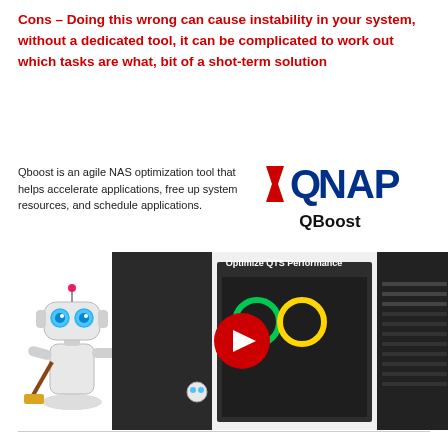Cons – Doing this wrong can cause instability in your system, without a dedicated tool, it can be complicated to work out which tasks are what, bit of a shot-term solution
Qboost is an agile NAS optimization tool that helps accelerate applications, free up system resources, and schedule applications.
[Figure (logo): QNAP QBoost logo with red and blue QNAP text and QBoost label below]
[Figure (screenshot): Video thumbnail showing QBoost application interface with a play button overlay and robot mascot, labeled Optimize QTS Performance]